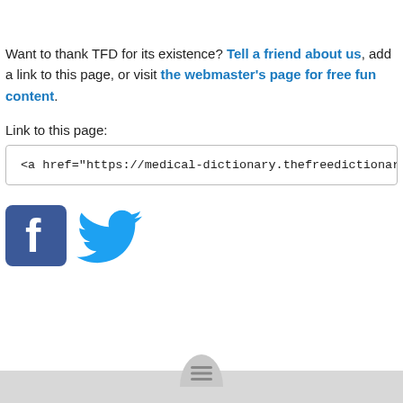Want to thank TFD for its existence? Tell a friend about us, add a link to this page, or visit the webmaster's page for free fun content.
Link to this page:
<a href="https://medical-dictionary.thefreedictionary.com/dicer">dice</a>
[Figure (logo): Facebook and Twitter social media icons side by side]